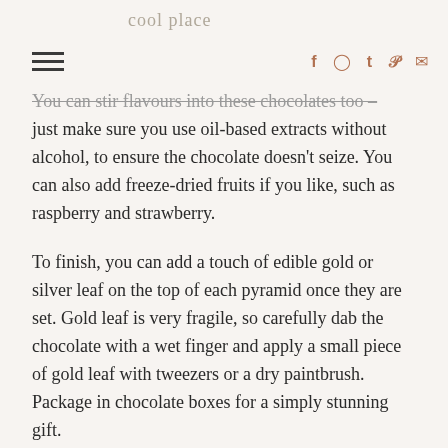cool place
You can stir flavours into these chocolates too – just make sure you use oil-based extracts without alcohol, to ensure the chocolate doesn't seize. You can also add freeze-dried fruits if you like, such as raspberry and strawberry.
To finish, you can add a touch of edible gold or silver leaf on the top of each pyramid once they are set. Gold leaf is very fragile, so carefully dab the chocolate with a wet finger and apply a small piece of gold leaf with tweezers or a dry paintbrush. Package in chocolate boxes for a simply stunning gift.
Delicious.
Meringue Girls Everything Sweet is out now – www.amazon.co.uk/Meringue-Girls-Everything
And you can find more sweet goodness on their